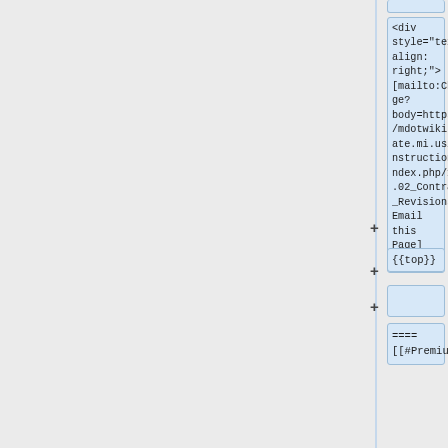[Figure (screenshot): A wiki editor interface showing a code block with HTML and wiki markup. The code block contains: <div style="text-align: right;">[mailto:Change?body=https://mdotwiki.state.mi.us/construction/index.php/103.02_Contract_Revisions Email this Page]</div>. Below are additional blocks: {{top}}, an empty block, and a partial block starting with ==== [[#Premium]
<div style="text-align: right;">[mailto:Change?body=https://mdotwiki.state.mi.us/construction/index.php/103.02_Contract_Revisions Email this Page]</div>
{{top}}
====
[[#Premium